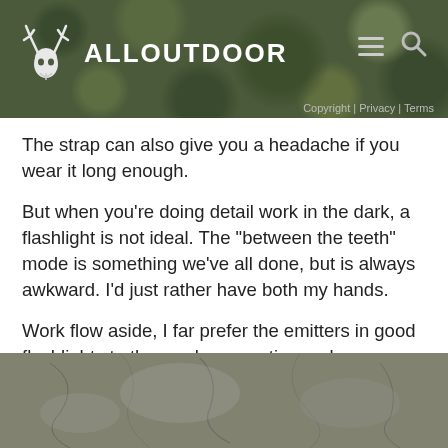ALLOUTDOOR
The strap can also give you a headache if you wear it long enough.
But when you’re doing detail work in the dark, a flashlight is not ideal. The “between the teeth” mode is something we’ve all done, but is always awkward. I’d just rather have both my hands.
Work flow aside, I far prefer the emitters in good flashlights to the weak sauce, tiny garbage you find in mainstream headlamps. Nothing comes close to the 10mm emitter on the new EDC Surefires.
[Figure (photo): Close-up photo of a rough textured surface, appears to be bark or stone with natural patterns]